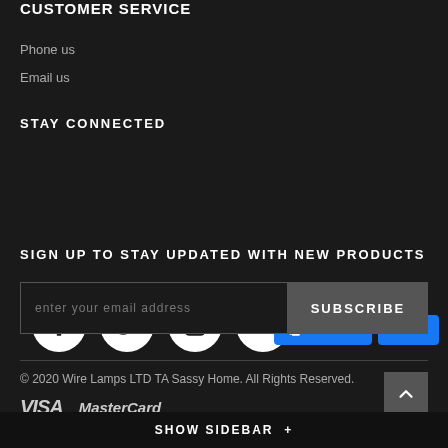CUSTOMER SERVICE
Phone us
Email us
STAY CONNECTED
[Figure (infographic): Social media icons: Facebook, Twitter, Instagram, RSS feed — white circles on dark background. Facebook like widget showing LIKE US on FACEBOOK with Like 655 and Share buttons.]
SIGN UP TO STAY UPDATED WITH NEW PRODUCTS
enter your email address [SUBSCRIBE button]
© 2020 Wire Lamps LTD TA Sassy Home. All Rights Reserved.
[Figure (logo): VISA and MasterCard payment logos]
SHOW SIDEBAR +